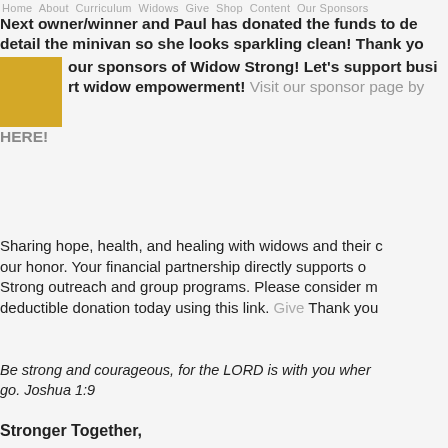Home  About  Curriculum  Widows  Give  Shop  Content  Our Sponsors
Next owner/winner and Paul has donated the funds to detail the minivan so she looks sparkling clean! Thank you our sponsors of Widow Strong! Let's support businesses that support widow empowerment! Visit our sponsor page by clicking HERE!
Sharing hope, health, and healing with widows and their children is our honor. Your financial partnership directly supports our Widow Strong outreach and group programs. Please consider making a tax-deductible donation today using this link. Give Thank you!
Be strong and courageous, for the LORD is with you wherever you go. Joshua 1:9
Stronger Together,
Mishael Porembski
Founder, Widow Strong
hello@widowstrong.com